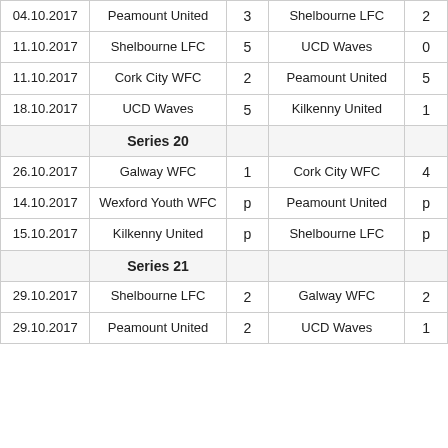| Date | Home Team | Score | Away Team | Score |
| --- | --- | --- | --- | --- |
| 04.10.2017 | Peamount United | 3 | Shelbourne LFC | 2 |
| 11.10.2017 | Shelbourne LFC | 5 | UCD Waves | 0 |
| 11.10.2017 | Cork City WFC | 2 | Peamount United | 5 |
| 18.10.2017 | UCD Waves | 5 | Kilkenny United | 1 |
|  | Series 20 |  |  |  |
| 26.10.2017 | Galway WFC | 1 | Cork City WFC | 4 |
| 14.10.2017 | Wexford Youth WFC | p | Peamount United | p |
| 15.10.2017 | Kilkenny United | p | Shelbourne LFC | p |
|  | Series 21 |  |  |  |
| 29.10.2017 | Shelbourne LFC | 2 | Galway WFC | 2 |
| 29.10.2017 | Peamount United | 2 | UCD Waves | 1 |